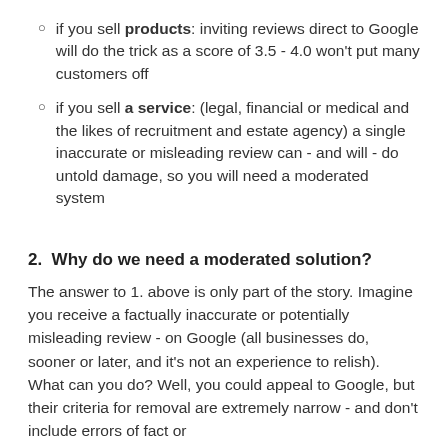if you sell products: inviting reviews direct to Google will do the trick as a score of 3.5 - 4.0 won't put many customers off
if you sell a service: (legal, financial or medical and the likes of recruitment and estate agency) a single inaccurate or misleading review can - and will - do untold damage, so you will need a moderated system
2.  Why do we need a moderated solution?
The answer to 1. above is only part of the story. Imagine you receive a factually inaccurate or potentially misleading review - on Google (all businesses do, sooner or later, and it's not an experience to relish). What can you do? Well, you could appeal to Google, but their criteria for removal are extremely narrow - and don't include errors of fact or